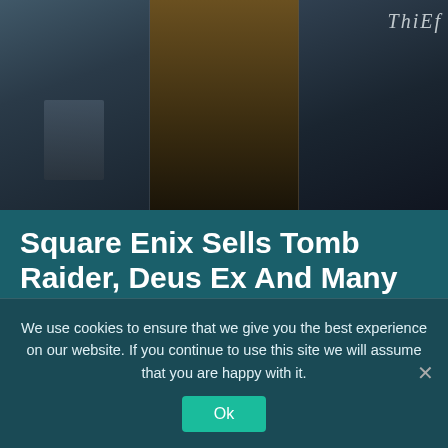[Figure (screenshot): Hero image showing three video game covers side by side: a warrior/Tomb Raider style figure on the left, a golden-lit figure in the center with GAMESROW logo, and a dark hooded figure with THIEF text on the right]
Square Enix Sells Tomb Raider, Deus Ex And Many More
⊙ Cătălin Costache  🗓 May 2, 2022  🏷News
Square Enix sells it's western studios and over 50 intellectual properties for just $300 million to ...
Read More >>
We use cookies to ensure that we give you the best experience on our website. If you continue to use this site we will assume that you are happy with it.